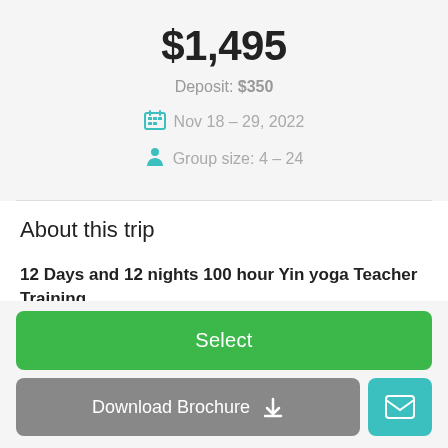$1,495
Deposit: $350
Nov 18 – 29, 2022
Group size: 4 – 24
About this trip
12 Days and 12 nights 100 hour Yin yoga Teacher Training
Minutes from the beach at the Yoga Dunia studio, Nusa
Select
Download Brochure